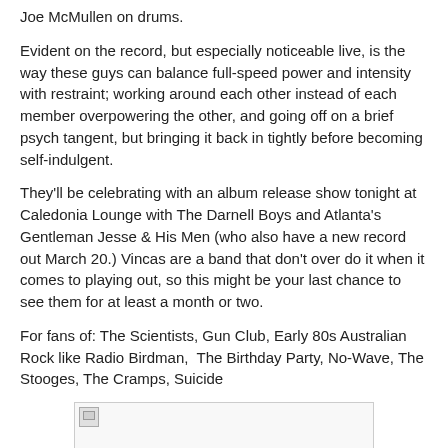Joe McMullen on drums.
Evident on the record, but especially noticeable live, is the way these guys can balance full-speed power and intensity with restraint; working around each other instead of each member overpowering the other, and going off on a brief psych tangent, but bringing it back in tightly before becoming self-indulgent.
They'll be celebrating with an album release show tonight at Caledonia Lounge with The Darnell Boys and Atlanta's Gentleman Jesse & His Men (who also have a new record out March 20.) Vincas are a band that don't over do it when it comes to playing out, so this might be your last chance to see them for at least a month or two.
For fans of: The Scientists, Gun Club, Early 80s Australian Rock like Radio Birdman,  The Birthday Party, No-Wave, The Stooges, The Cramps, Suicide
[Figure (photo): Broken image placeholder]